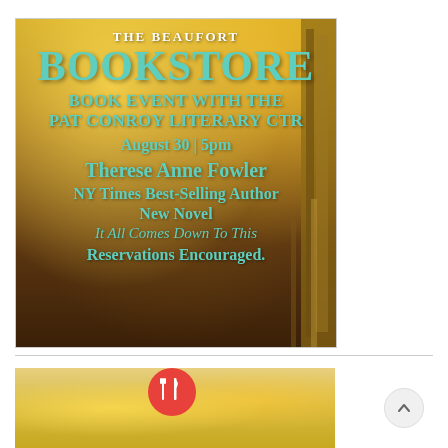[Figure (illustration): Beaufort Bookstore promotional poster with teal text on a warm golden/brown bokeh background with stacked books visible. Text reads: THE BEAUFORT BOOKSTORE, BOOK EVENT WITH THE PAT CONROY LITERARY CTR, August 30 | 5pm, Therese Anne Fowler, NY Times Best-Selling Author, New Novel, It All Comes Down To This, Reservations Encouraged.]
[Figure (photo): Partial bottom image showing a blurred warm golden/yellow background, with a red circular icon featuring fork and knife (restaurant/food icon) in the center.]